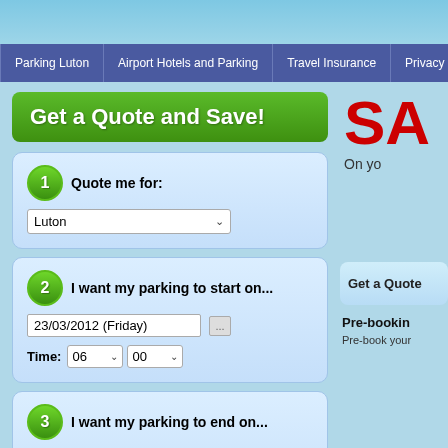Parking Luton | Airport Hotels and Parking | Travel Insurance | Privacy
Get a Quote and Save!
1 Quote me for: Luton
2 I want my parking to start on... 23/03/2012 (Friday) Time: 06 00
3 I want my parking to end on... 29/03/2012 (Thursday) Time: 23 00
QUOTE ME
SA
On yo
Get a Quote
Pre-booking
Pre-book your